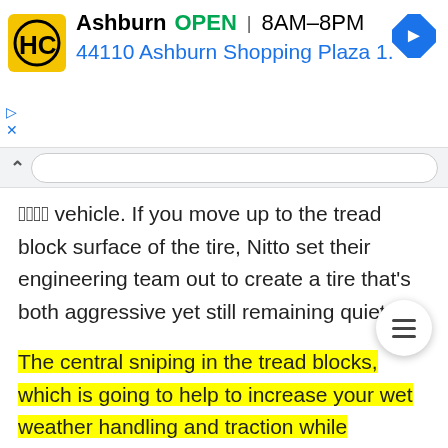[Figure (screenshot): Ad banner for Hisham Car (HC) shop in Ashburn showing logo, OPEN status, hours 8AM-8PM, address 44110 Ashburn Shopping Plaza 1., and navigation arrow icon]
your vehicle. If you move up to the tread block surface of the tire, Nitto set their engineering team out to create a tire that's both aggressive yet still remaining quiet.
The central sniping in the tread blocks, which is going to help to increase your wet weather handling and traction while decreasing the risk of hydroplaning on the outer tread blocks. All of these features combine together to create a tire with excellent wet and dry handling.